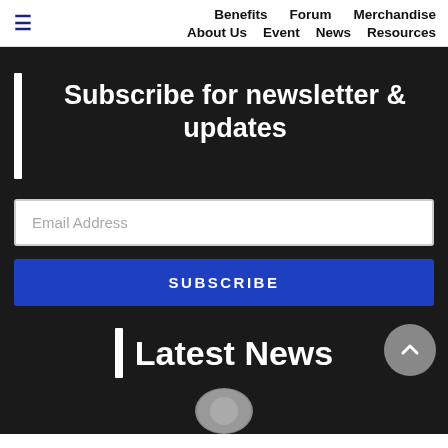≡  Benefits  Forum  Merchandise  About Us  Event  News  Resources
Subscribe for newsletter & updates
Email Address
SUBSCRIBE
Latest News